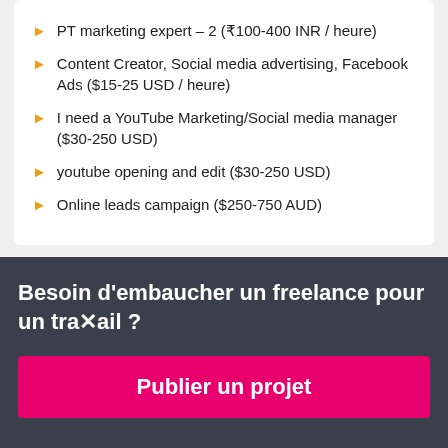PT marketing expert – 2 (₹100-400 INR / heure)
Content Creator, Social media advertising, Facebook Ads ($15-25 USD / heure)
I need a YouTube Marketing/Social media manager ($30-250 USD)
youtube opening and edit ($30-250 USD)
Online leads campaign ($250-750 AUD)
Besoin d'embaucher un freelance pour un travail ?
Publier un projet